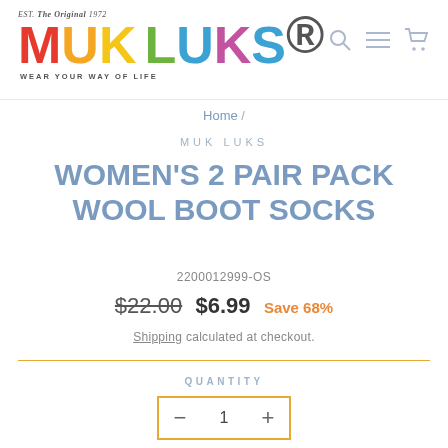[Figure (logo): Muk Luks logo with colorful letters, EST. THE ORIGINAL 1972 above, WEAR YOUR WAY OF LIFE tagline below, with search, menu and cart icons top right]
Home /
MUK LUKS
WOMEN'S 2 PAIR PACK WOOL BOOT SOCKS
2200012999-OS
$22.00  $6.99  Save 68%
Shipping calculated at checkout.
QUANTITY
- 1 +